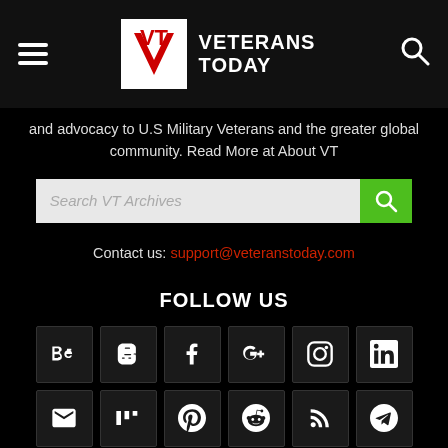Veterans Today
and advocacy to U.S Military Veterans and the greater global community. Read More at About VT
Search VT Archives
Contact us: support@veteranstoday.com
FOLLOW US
[Figure (other): Social media icon grid: Behance, Blogger, Facebook, Google+, Instagram, LinkedIn, Email, Mix, Pinterest, Reddit, RSS, Telegram, Tumblr, Twitter, WordPress, YouTube, Xing]